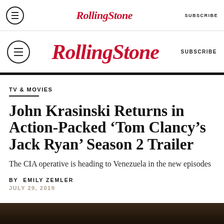Rolling Stone | SUBSCRIBE
Rolling Stone | SUBSCRIBE
TV & MOVIES
John Krasinski Returns in Action-Packed ‘Tom Clancy’s Jack Ryan’ Season 2 Trailer
The CIA operative is heading to Venezuela in the new episodes
BY EMILY ZEMLER
JULY 29, 2019
[Figure (photo): Bottom strip of a dark photo, partially visible at the bottom of the page]